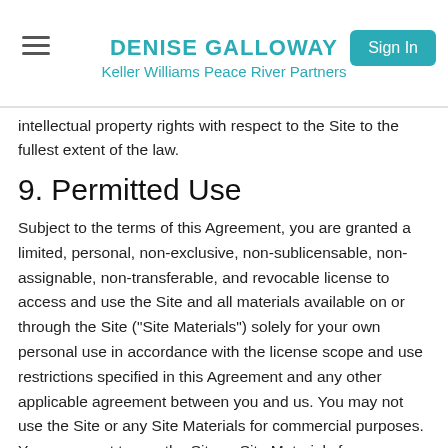DENISE GALLOWAY
Keller Williams Peace River Partners
intellectual property rights with respect to the Site to the fullest extent of the law.
9. Permitted Use
Subject to the terms of this Agreement, you are granted a limited, personal, non-exclusive, non-sublicensable, non-assignable, non-transferable, and revocable license to access and use the Site and all materials available on or through the Site ("Site Materials") solely for your own personal use in accordance with the license scope and use restrictions specified in this Agreement and any other applicable agreement between you and us. You may not use the Site or any Site Materials for commercial purposes. You agree not to use the Site or Site Materials for any unintended purpose, for any unlawful purpose, or in any way that might harm, damage, or disparage any other party, including Constellation, Company, their respective affiliates, and all of their respective suppliers. Without limiting the preceding, we do not guarantee that you will